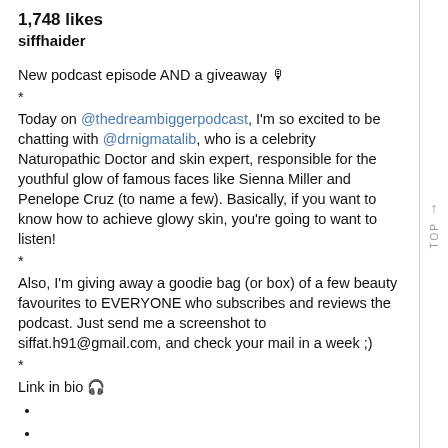1,748 likes
siffhaider
New podcast episode AND a giveaway 🎙
*
Today on @thedreambiggerpodcast, I'm so excited to be chatting with @drnigmatalib, who is a celebrity Naturopathic Doctor and skin expert, responsible for the youthful glow of famous faces like Sienna Miller and Penelope Cruz (to name a few). Basically, if you want to know how to achieve glowy skin, you're going to want to listen!
*
Also, I'm giving away a goodie bag (or box) of a few beauty favourites to EVERYONE who subscribes and reviews the podcast. Just send me a screenshot to siffat.h91@gmail.com, and check your mail in a week ;)
*
Link in bio 🎧
•
•
•
•
•
#mytinyatlas #neverstopexploring #iamatraveler